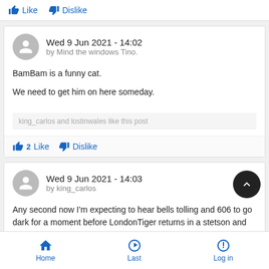Like  Dislike
Wed 9 Jun 2021 - 14:02
by Mind the windows Tino.
BamBam is a funny cat.

We need to get him on here someday.

king_carlos and lostinwales like this post
2  Like  Dislike
Wed 9 Jun 2021 - 14:03
by king_carlos
Any second now I'm expecting to hear bells tolling and 606 to go dark for a moment before LondonTiger returns in a stetson and